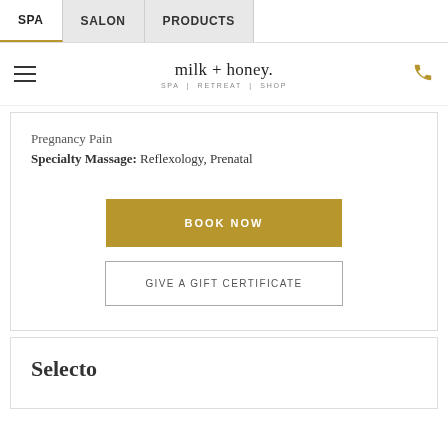SPA | SALON | PRODUCTS
[Figure (logo): milk + honey spa logo with hamburger menu and phone icon]
Pregnancy Pain
Specialty Massage: Reflexology, Prenatal
BOOK NOW
GIVE A GIFT CERTIFICATE
Selecto